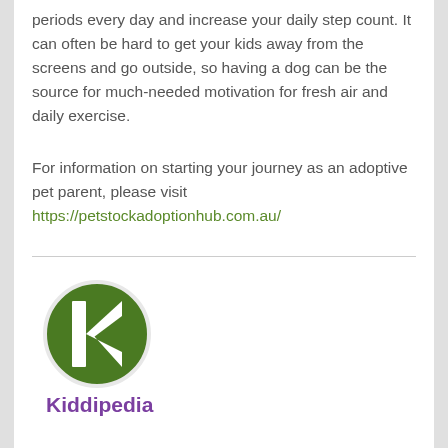periods every day and increase your daily step count. It can often be hard to get your kids away from the screens and go outside, so having a dog can be the source for much-needed motivation for fresh air and daily exercise.
For information on starting your journey as an adoptive pet parent, please visit https://petstockadoptionhub.com.au/
[Figure (logo): Kiddipedia logo: green circle with white lowercase letter k inside]
Kiddipedia